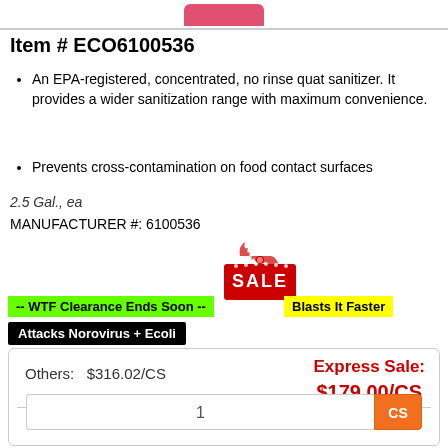[Figure (photo): Partial product image showing pink/red label at top of page]
Item # ECO6100536
An EPA-registered, concentrated, no rinse quat sanitizer. It provides a wider sanitization range with maximum convenience.
Prevents cross-contamination on food contact surfaces
2.5 Gal., ea
MANUFACTURER #: 6100536
[Figure (illustration): Red SALE tag graphic with flame/fire on top]
-- WTF Clearance Ends Soon --
Blasts It Faster
Attacks Norovirus + Ecoli
Others: $316.02/CS
Express Sale: $179.00/CS
Quantity:
1 CS